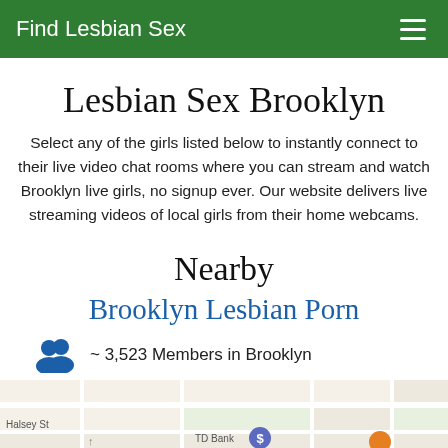Find Lesbian Sex
Lesbian Sex Brooklyn
Select any of the girls listed below to instantly connect to their live video chat rooms where you can stream and watch Brooklyn live girls, no signup ever. Our website delivers live streaming videos of local girls from their home webcams.
Nearby Brooklyn Lesbian Porn
~ 3,523 Members in Brooklyn
~ 25,142 Members Within 15 Mi
[Figure (map): Street map showing Brooklyn area near Halsey St and TD Bank]